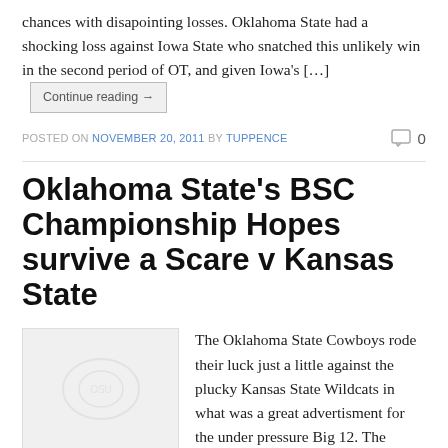chances with disapointing losses. Oklahoma State had a shocking loss against Iowa State who snatched this unlikely win in the second period of OT, and given Iowa's […]
Continue reading →
POSTED ON NOVEMBER 20, 2011 BY TUPPENCE
0
Oklahoma State's BSC Championship Hopes survive a Scare v Kansas State
[Figure (illustration): Placeholder thumbnail image with faint circular watermark graphic]
The Oklahoma State Cowboys rode their luck just a little against the plucky Kansas State Wildcats in what was a great advertisment for the under pressure Big 12. The Wildcats who had seen their own BSC ambitions destroyed by Oklahoma last week again gave up over 50 points, but instead of laying down like they […]
Continue reading →
POSTED ON NOVEMBER 5, 2011 BY TUPPENCE